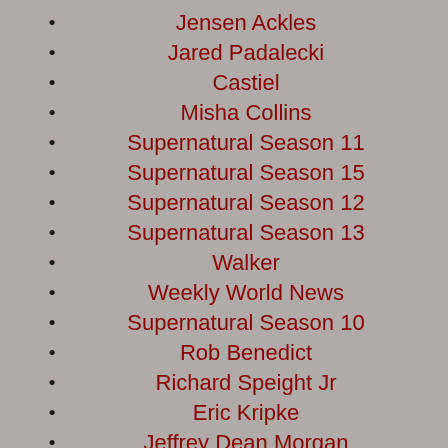Jensen Ackles
Jared Padalecki
Castiel
Misha Collins
Supernatural Season 11
Supernatural Season 15
Supernatural Season 12
Supernatural Season 13
Walker
Weekly World News
Supernatural Season 10
Rob Benedict
Richard Speight Jr
Eric Kripke
Jeffrey Dean Morgan
Supernatural Season 7
Osric Chau
Robbie Thompson
Supernatural Season 8